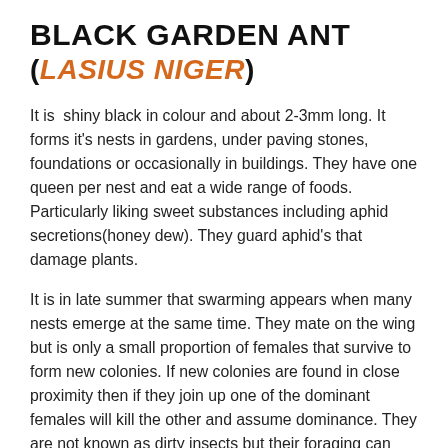BLACK GARDEN ANT (LASIUS NIGER)
It is  shiny black in colour and about 2-3mm long. It forms it's nests in gardens, under paving stones, foundations or occasionally in buildings. They have one queen per nest and eat a wide range of foods. Particularly liking sweet substances including aphid secretions(honey dew). They guard aphid's that damage plants.
It is in late summer that swarming appears when many nests emerge at the same time. They mate on the wing but is only a small proportion of females that survive to form new colonies. If new colonies are found in close proximity then if they join up one of the dominant females will kill the other and assume dominance. They are not known as dirty insects but their foraging can lead them to walk onto unsavoury surfaces so when they enter buildings this can be considered unacceptable.